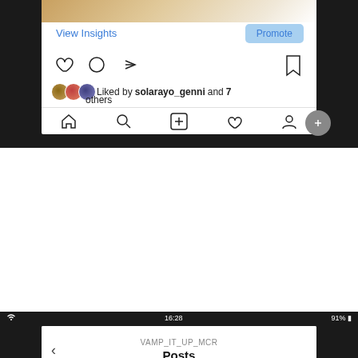[Figure (screenshot): Instagram app screenshot showing bottom of a post with View Insights link, Promote button, like/comment/share icons, bookmark icon, liked-by row showing avatars and 'Liked by solarayo_genni and 7 others', and bottom navigation bar with home/search/add/heart/profile icons]
[Figure (screenshot): Instagram app screenshot showing VAMP_IT_UP_MCR Posts page with caption 'people speechless 😎', date '10 August', user row for vamp_it_up_mcr with avatar and three-dot menu, and a product photo of a lipstick on a textured white surface]